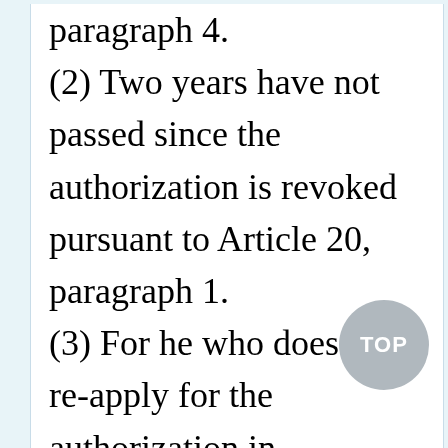paragraph 4. (2) Two years have not passed since the authorization is revoked pursuant to Article 20, paragraph 1. (3) For he who does not re-apply for the authorization in accordance with the deadline prescribed